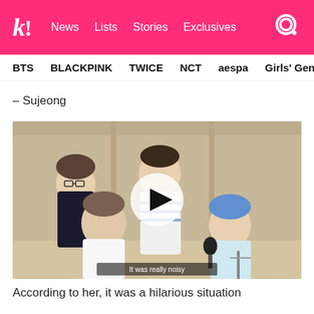k! News Lists Stories Exclusives [search]
BTS  BLACKPINK  TWICE  NCT  aespa  Girls' Generation
– Sujeong
[Figure (screenshot): Video thumbnail showing K-pop idols seated at a table in a studio setting with a play button overlay. Subtitle text reads: 'It was really noisy']
According to her, it was a hilarious situation